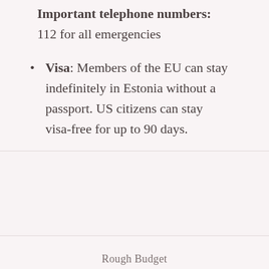Important telephone numbers: 112 for all emergencies
Visa: Members of the EU can stay indefinitely in Estonia without a passport. US citizens can stay visa-free for up to 90 days.
Rough Budget
Hotel: $50-70